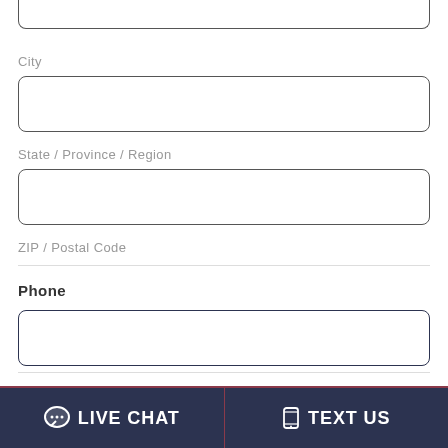[Figure (screenshot): Partial top input field (cropped from above)]
City
[Figure (other): City text input field]
State / Province / Region
[Figure (other): State/Province/Region text input field]
ZIP / Postal Code
Phone
[Figure (other): Phone text input field]
What hernia mesh product did you have?  *
[Figure (other): Bottom bar with LIVE CHAT and TEXT US buttons]